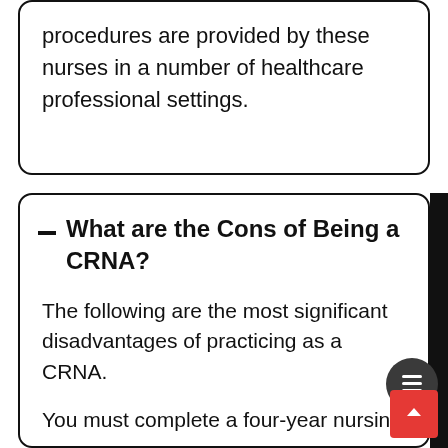procedures are provided by these nurses in a number of healthcare professional settings.
What are the Cons of Being a CRNA?
The following are the most significant disadvantages of practicing as a CRNA.
You must complete a four-year nursing program.